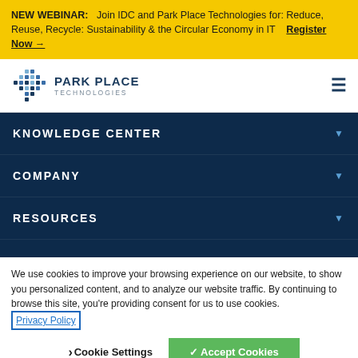NEW WEBINAR: Join IDC and Park Place Technologies for: Reduce, Reuse, Recycle: Sustainability & the Circular Economy in IT  Register Now →
[Figure (logo): Park Place Technologies logo with diamond-shaped dot grid icon and company name]
KNOWLEDGE CENTER
COMPANY
RESOURCES
We use cookies to improve your browsing experience on our website, to show you personalized content, and to analyze our website traffic. By continuing to browse this site, you're providing consent for us to use cookies. Privacy Policy
Cookie Settings  ✓ Accept Cookies